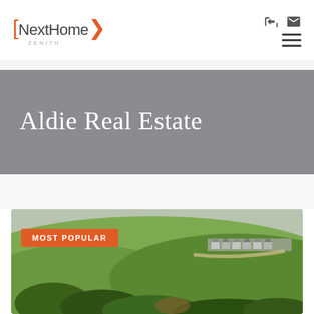[Figure (logo): NextHome Zenith logo with orange brackets and sans-serif text]
Aldie Real Estate
[Figure (photo): Aerial photograph of Aldie Virginia real estate showing green fields, trees, and a row of suburban houses along a road]
MOST POPULAR